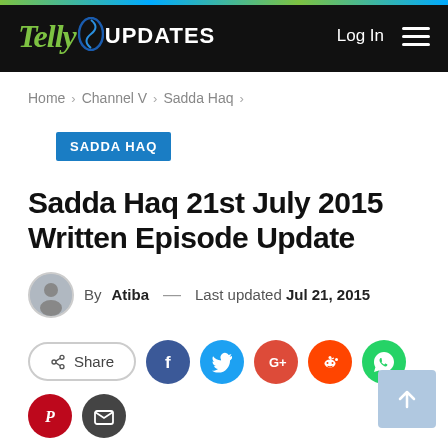Telly UPDATES — Log In
Home > Channel V > Sadda Haq >
SADDA HAQ
Sadda Haq 21st July 2015 Written Episode Update
By Atiba — Last updated Jul 21, 2015
[Figure (infographic): Share buttons row: Share, Facebook, Twitter, Google, Reddit, WhatsApp, Pinterest, Email]